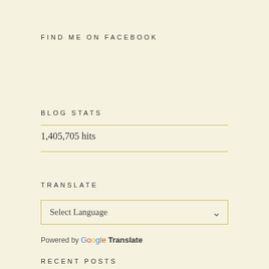FIND ME ON FACEBOOK
BLOG STATS
1,405,705 hits
TRANSLATE
Select Language
Powered by Google Translate
RECENT POSTS